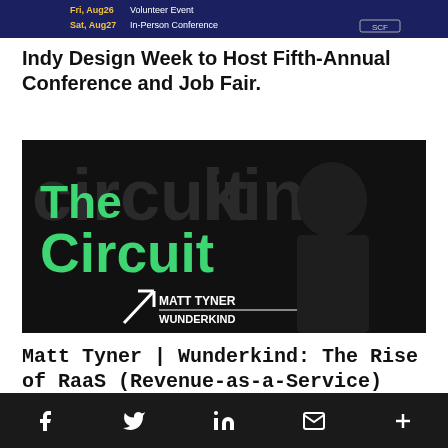[Figure (screenshot): Top banner image showing event schedule with dark blue background, text 'Fri, Aug26 Volunteer Event' and 'Sat, Aug27 In-Person Conference' with SCF logo]
Indy Design Week to Host Fifth-Annual Conference and Job Fair.
[Figure (screenshot): The Circuit podcast/video thumbnail showing man speaking, green text 'The Circuit', and label 'MATT TYNER WUNDERKIND' with arrow icon on dark background]
Matt Tyner | Wunderkind: The Rise of RaaS (Revenue-as-a-Service)
Social share bar with Facebook, Twitter, LinkedIn, Email, and More icons